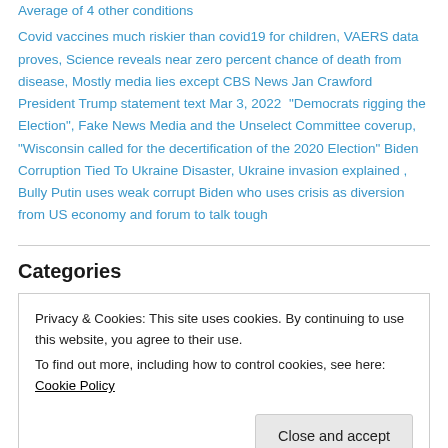Average of 4 other conditions
Covid vaccines much riskier than covid19 for children, VAERS data proves, Science reveals near zero percent chance of death from disease, Mostly media lies except CBS News Jan Crawford President Trump statement text Mar 3, 2022 “Democrats rigging the Election”, Fake News Media and the Unselect Committee coverup, “Wisconsin called for the decertification of the 2020 Election” Biden Corruption Tied To Ukraine Disaster, Ukraine invasion explained , Bully Putin uses weak corrupt Biden who uses crisis as diversion from US economy and forum to talk tough
Categories
Privacy & Cookies: This site uses cookies. By continuing to use this website, you agree to their use.
To find out more, including how to control cookies, see here: Cookie Policy
Close and accept
before election. Tweet: “If you like high inflati…